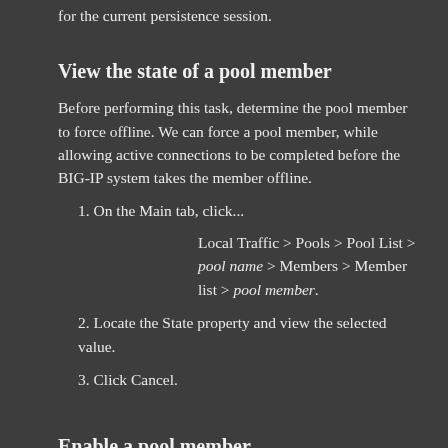for the current persistence session.
View the state of a pool member
Before performing this task, determine the pool member to force offline. We can force a pool member, while allowing active connections to be completed before the BIG-IP system takes the member offline.
1. On the Main tab, click...
Local Traffic > Pools > Pool List > pool name > Members > Member list > pool member.
2. Locate the State property and view the selected value.
3. Click Cancel.
Enable a pool member